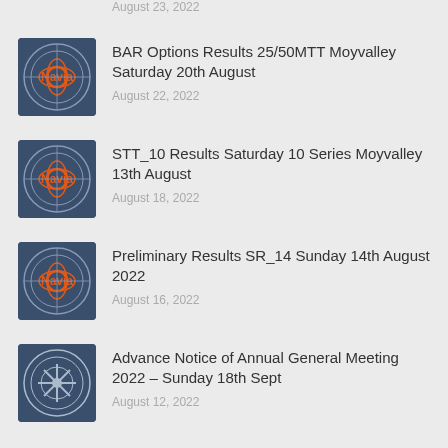August 23, 2022
BAR Options Results 25/50MTT Moyvalley Saturday 20th August
August 22, 2022
STT_10 Results Saturday 10 Series Moyvalley 13th August
August 18, 2022
Preliminary Results SR_14 Sunday 14th August 2022
August 16, 2022
Advance Notice of Annual General Meeting 2022 – Sunday 18th Sept
August 12, 2022